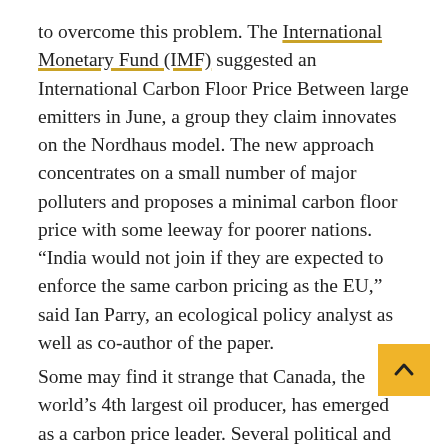to overcome this problem. The International Monetary Fund (IMF) suggested an International Carbon Floor Price Between large emitters in June, a group they claim innovates on the Nordhaus model. The new approach concentrates on a small number of major polluters and proposes a minimal carbon floor price with some leeway for poorer nations. "India would not join if they are expected to enforce the same carbon pricing as the EU," said Ian Parry, an ecological policy analyst as well as co-author of the paper.
Some may find it strange that Canada, the world's 4th largest oil producer, has emerged as a carbon price leader. Several political and industrial leaders are still divided on the topic, however, Canada's system has remained stable because of continuous Liberal Party government, robust federal regulations, as well as low consumer pricing. Presently, Canada is the only nation with a